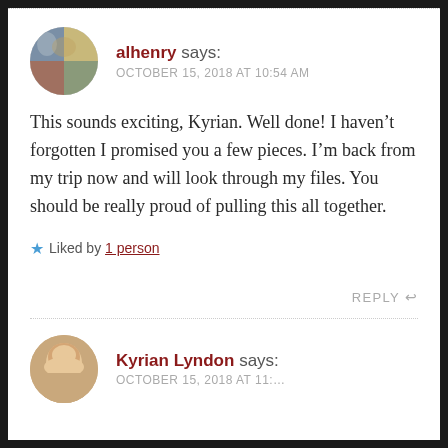alhenry says: OCTOBER 15, 2018 AT 10:54 AM
This sounds exciting, Kyrian. Well done! I haven't forgotten I promised you a few pieces. I'm back from my trip now and will look through my files. You should be really proud of pulling this all together.
Liked by 1 person
REPLY
Kyrian Lyndon says: